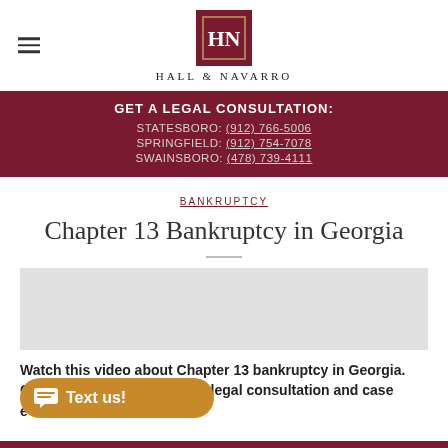[Figure (logo): Hall & Navarro law firm logo: HN monogram in white on dark red square, with firm name below in spaced caps]
GET A LEGAL CONSULTATION:
STATESBORO: (912) 766-5006
SPRINGFIELD: (912) 754-7078
SWAINSBORO: (478) 739-4111
BANKRUPTCY
Chapter 13 Bankruptcy in Georgia
[Figure (screenshot): Embedded video placeholder about Chapter 13 bankruptcy in Georgia]
Watch this video about Chapter 13 bankruptcy in Georgia. Contact Hall & Navarro for a legal consultation and case evaluation.
[Figure (other): Text us chat button in gold/amber color]